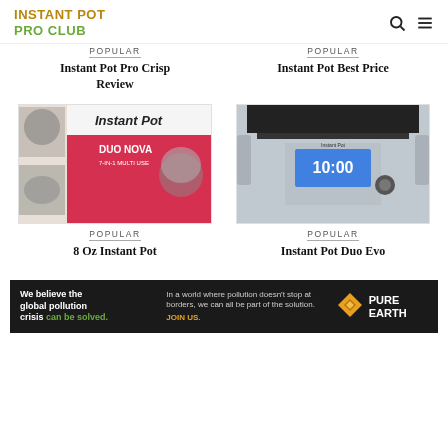INSTANT POT PRO CLUB
POPULAR
Instant Pot Pro Crisp Review
POPULAR
Instant Pot Best Price
[Figure (photo): Instant Pot Duo Nova box with product image on pink background]
POPULAR
8 Oz Instant Pot
[Figure (photo): Instant Pot Duo Evo showing blue LCD display reading 10:00]
POPULAR
Instant Pot Duo Evo
[Figure (infographic): Pure Earth advertisement banner: We believe the global pollution crisis can be solved. JOIN US. Pure Earth logo.]